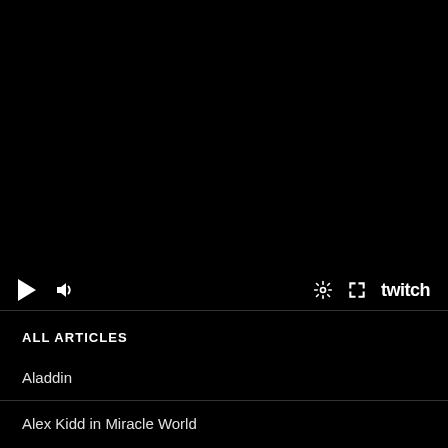[Figure (screenshot): Twitch video player interface with black background showing playback controls: play button, volume icon on the left, and settings gear icon, fullscreen icon, and Twitch logo on the right.]
ALL ARTICLES
Aladdin
Alex Kidd in Miracle World